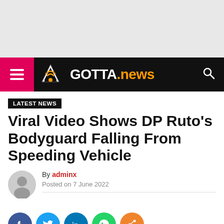[Figure (other): Gray advertisement placeholder area at top of page]
GOTTA.news — navigation bar with hamburger menu and search icon
LATEST NEWS
Viral Video Shows DP Ruto's Bodyguard Falling From Speeding Vehicle
By adminx
Posted on 7 June 2022
[Figure (infographic): Social sharing icons: Facebook, Twitter, LinkedIn, WhatsApp, Share]